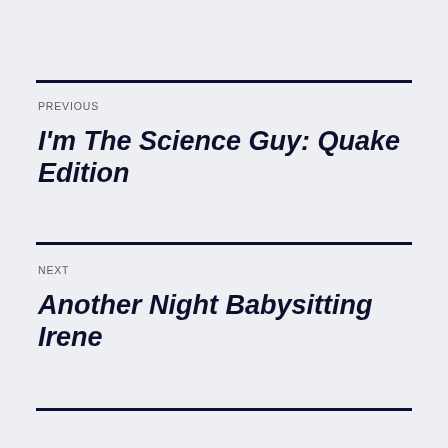PREVIOUS
I'm The Science Guy: Quake Edition
NEXT
Another Night Babysitting Irene